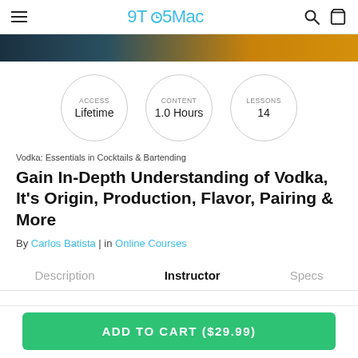9TO5Mac
[Figure (photo): Dark and orange colored image strip (course thumbnail)]
ACCESS Lifetime | CONTENT 1.0 Hours | LESSONS 14
Vodka: Essentials in Cocktails & Bartending
Gain In-Depth Understanding of Vodka, It's Origin, Production, Flavor, Pairing & More
By Carlos Batista | in Online Courses
Description | Instructor | Specs
ADD TO CART ($29.99)